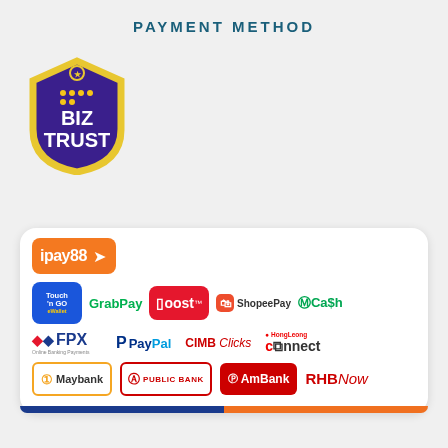PAYMENT METHOD
[Figure (logo): BizTrust shield logo with purple background and yellow border, showing grid dots and text BIZ TRUST]
[Figure (infographic): Payment method logos panel including iPay88, Touch n Go eWallet, GrabPay, Boost, ShopeePay, MCash, FPX Online Banking Payments, PayPal, CIMB Clicks, Hong Leong Connect, Maybank, Public Bank, AmBank, RHB Now]